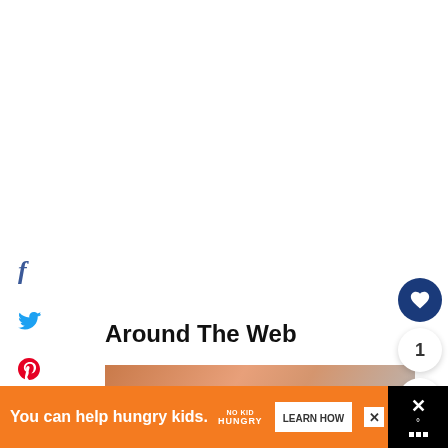[Figure (infographic): Social sharing sidebar with Facebook, Twitter, Pinterest, and Yummly icons, and a shares count of 0 SHARES]
0
SHARES
Around The Web
[Figure (photo): Partial view of a person's face, warm skin tones, blurred background]
[Figure (infographic): Right panel with heart button (dark blue circle), count of 1, and share button]
[Figure (infographic): Ad banner: orange background with 'You can help hungry kids.' text, No Kid Hungry logo, LEARN HOW button, and X close button on dark background]